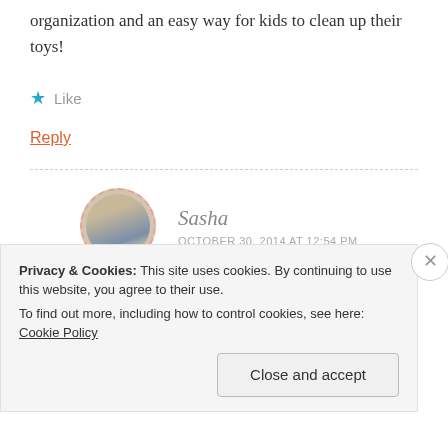organization and an easy way for kids to clean up their toys!
★ Like
Reply
Sasha
OCTOBER 30, 2014 AT 12:54 PM
[Figure (photo): Round avatar photo of a person sitting on a beach, with dashed circular border]
Yes, I have found organization to be key around
Privacy & Cookies: This site uses cookies. By continuing to use this website, you agree to their use.
To find out more, including how to control cookies, see here: Cookie Policy
Close and accept